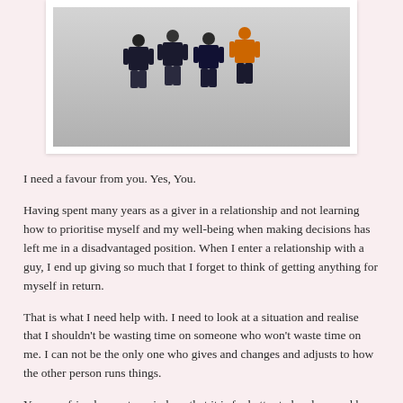[Figure (photo): Photo of four LEGO minifigures standing together against a grey background, displayed in a white photo frame]
I need a favour from you. Yes, You.
Having spent many years as a giver in a relationship and not learning how to prioritise myself and my well-being when making decisions has left me in a disadvantaged position. When I enter a relationship with a guy, I end up giving so much that I forget to think of getting anything for myself in return.
That is what I need help with. I need to look at a situation and realise that I shouldn't be wasting time on someone who won't waste time on me. I can not be the only one who gives and changes and adjusts to how the other person runs things.
You, my friends, must remind me that it is far better to be alone and be myself than to live a life pleasing someone else and never being pleased in return.